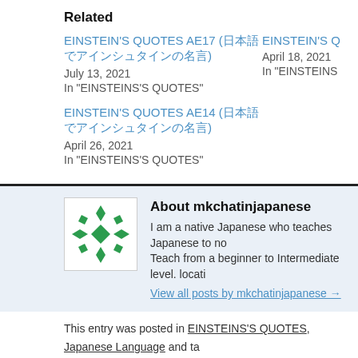Related
EINSTEIN'S QUOTES AE17 (日本語でアインシュタインの名言)
July 13, 2021
In "EINSTEINS'S QUOTES"
EINSTEIN'S Q
April 18, 2021
In "EINSTEINS
EINSTEIN'S QUOTES AE14 (日本語でアインシュタインの名言)
April 26, 2021
In "EINSTEINS'S QUOTES"
[Figure (logo): Green geometric snowflake/diamond pattern logo for mkchatinjapanese]
About mkchatinjapanese
I am a native Japanese who teaches Japanese to no...
Teach from a beginner to Intermediate level. locati...
View all posts by mkchatinjapanese →
This entry was posted in EINSTEINS'S QUOTES, Japanese Language and ta...
unassuming mannar. Bookmark the permalink.
← Sunday J-POP (Japanese Pop) – La La La Love Song By Toshinobu Kubota
[2021...